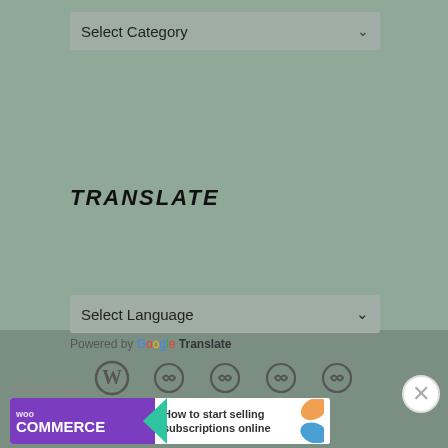[Figure (screenshot): A 'Select Category' dropdown UI element with a chevron arrow, grey background]
TRANSLATE
[Figure (screenshot): A 'Select Language' dropdown UI element with a chevron arrow, grey background]
Powered by Google Translate
[Figure (infographic): Footer icon bar with WordPress logo and chain/link icons]
Advertisements
[Figure (screenshot): WooCommerce advertisement banner: 'How to start selling subscriptions online']